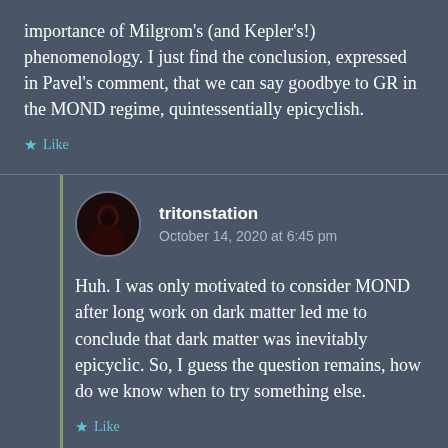importance of Milgrom's (and Kepler's!) phenomenology. I just find the conclusion, expressed in Pavel's comment, that we can say goodbye to GR in the MOND regime, quintessentially epicyclish.
Like
tritonstation
October 14, 2020 at 6:45 pm
Huh. I was only motivated to consider MOND after long work on dark matter led me to conclude that dark matter was inevitably epicyclic. So, I guess the question remains, how do we know when to try something else.
Like